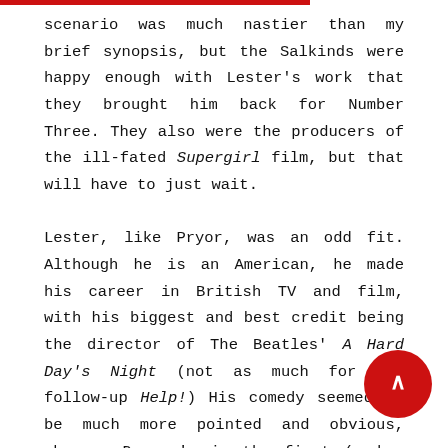scenario was much nastier than my brief synopsis, but the Salkinds were happy enough with Lester's work that they brought him back for Number Three. They also were the producers of the ill-fated Supergirl film, but that will have to just wait.

Lester, like Pryor, was an odd fit. Although he is an American, he made his career in British TV and film, with his biggest and best credit being the director of The Beatles' A Hard Day's Night (not as much for the follow-up Help!) His comedy seemed to be much more pointed and obvious, whereas Donner's in the first (and a lot of the second) was more screwball. Clark and Lois were more like Hepburn and Tracy. In SIII, Clark and Lana aren't much like anything, for although I like Annette O'Toole's work overall, there is zero chemistry between